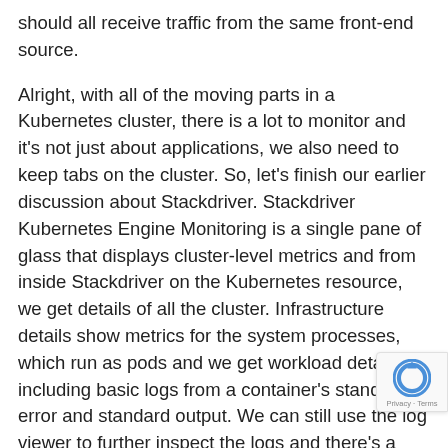should all receive traffic from the same front-end source.
Alright, with all of the moving parts in a Kubernetes cluster, there is a lot to monitor and it's not just about applications, we also need to keep tabs on the cluster. So, let's finish our earlier discussion about Stackdriver. Stackdriver Kubernetes Engine Monitoring is a single pane of glass that displays cluster-level metrics and from inside Stackdriver on the Kubernetes resource, we get details of all the cluster. Infrastructure details show metrics for the system processes, which run as pods and we get workload details including basic logs from a container's standard error and standard output. We can still use the log viewer to further inspect the logs and there's a kubectl command that allows you to inspect the logs of current and previous pods and this assumes of course that you're writing